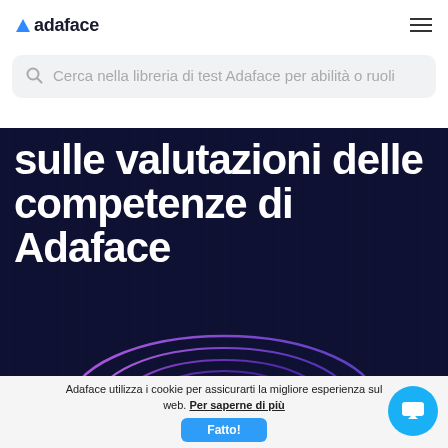adaface
Cerca nella libreria di test Adaface per abilità o ruoli
sulle valutazioni delle competenze di Adaface
[Figure (illustration): Dark navy hero section with large white bold text and decorative concentric oval rings in purple and pink gradient at the bottom center, with faint vertical line pattern in the background]
Adaface utilizza i cookie per assicurarti la migliore esperienza sul web. Per saperne di più
Fatto!